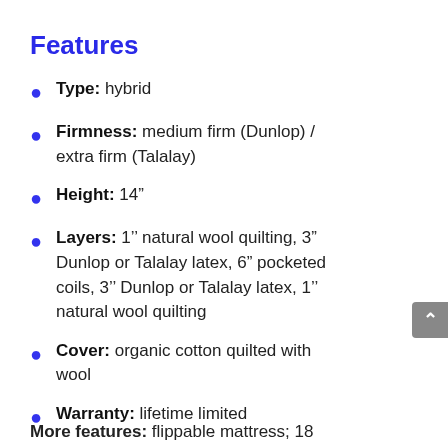Features
Type: hybrid
Firmness: medium firm (Dunlop) / extra firm (Talalay)
Height: 14"
Layers: 1" natural wool quilting, 3" Dunlop or Talalay latex, 6" pocketed coils, 3" Dunlop or Talalay latex, 1" natural wool quilting
Cover: organic cotton quilted with wool
Warranty: lifetime limited
More features: flippable mattress; 18